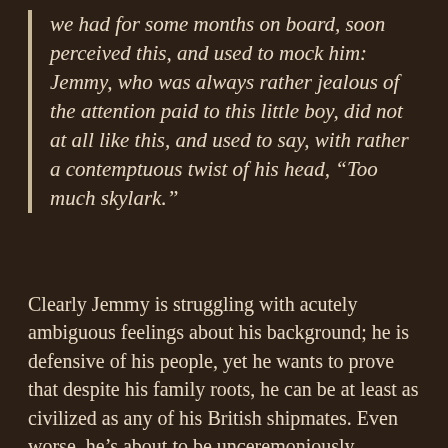we had for some months on board, soon perceived this, and used to mock him: Jemmy, who was always rather jealous of the attention paid to this little boy, did not at all like this, and used to say, with rather a contemptuous twist of his head, “Too much skylark.”
Clearly Jemmy is struggling with acutely ambiguous feelings about his background; he is defensive of his people, yet he wants to prove that despite his family roots, he can be at least as civilized as any of his British shipmates. Even worse, he’s about to be unceremoniously dropped back among his naked kinfolk. In the